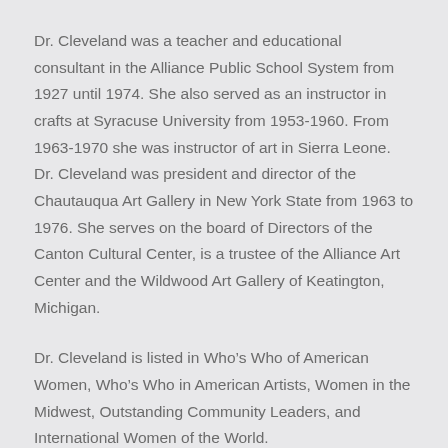Dr. Cleveland was a teacher and educational consultant in the Alliance Public School System from 1927 until 1974. She also served as an instructor in crafts at Syracuse University from 1953-1960. From 1963-1970 she was instructor of art in Sierra Leone. Dr. Cleveland was president and director of the Chautauqua Art Gallery in New York State from 1963 to 1976. She serves on the board of Directors of the Canton Cultural Center, is a trustee of the Alliance Art Center and the Wildwood Art Gallery of Keatington, Michigan.
Dr. Cleveland is listed in Who’s Who of American Women, Who’s Who in American Artists, Women in the Midwest, Outstanding Community Leaders, and International Women of the World.